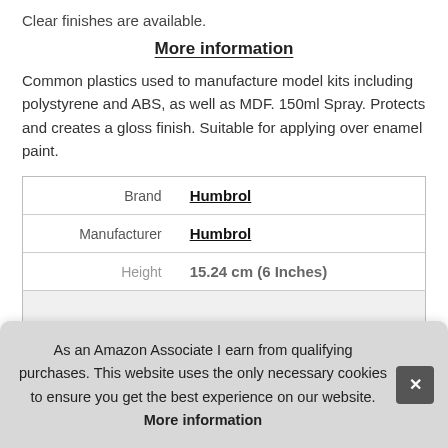Clear finishes are available.
More information
Common plastics used to manufacture model kits including polystyrene and ABS, as well as MDF. 150ml Spray. Protects and creates a gloss finish. Suitable for applying over enamel paint.
|  |  |
| --- | --- |
| Brand | Humbrol |
| Manufacturer | Humbrol |
| Height | 15.24 cm (6 Inches) |
As an Amazon Associate I earn from qualifying purchases. This website uses the only necessary cookies to ensure you get the best experience on our website. More information